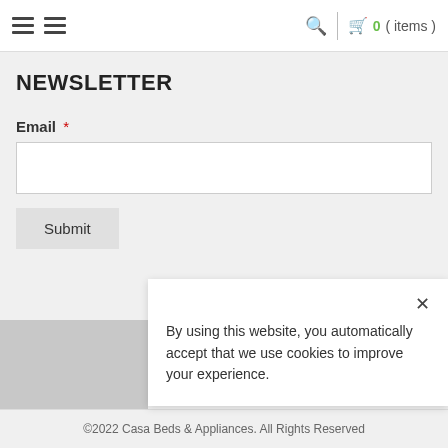Navigation menu, search, 0 (items) cart
NEWSLETTER
Email *
Submit
By using this website, you automatically accept that we use cookies to improve your experience.
©2022 Casa Beds & Appliances. All Rights Reserved